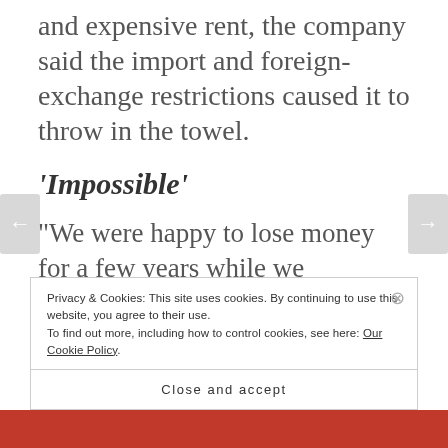and expensive rent, the company said the import and foreign-exchange restrictions caused it to throw in the towel.
'Impossible'
“We were happy to lose money for a few years while we developed the business and opened new stores,” Chief Executive Officer Michael Mark
Privacy & Cookies: This site uses cookies. By continuing to use this website, you agree to their use.
To find out more, including how to control cookies, see here: Our Cookie Policy
Close and accept